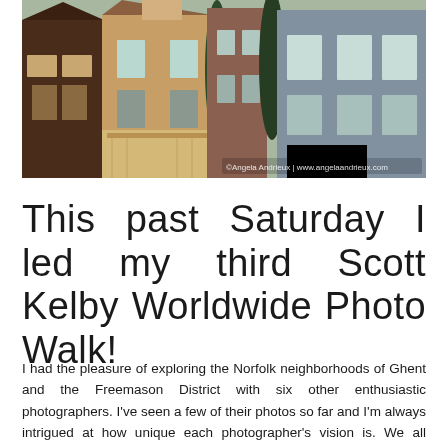[Figure (photo): A row of historic Victorian-style townhouses in Norfolk, with varied facades in red brick, tan stone, and teal/grey stone. The buildings have bay windows, a porch, and tall cypress trees between them. A watermark reads '©Angela Andrieux | www.angelaandrieux.com' in the lower right corner.]
This past Saturday I led my third Scott Kelby Worldwide Photo Walk!
I had the pleasure of exploring the Norfolk neighborhoods of Ghent and the Freemason District with six other enthusiastic photographers. I've seen a few of their photos so far and I'm always intrigued at how unique each photographer's vision is. We all walked (roughly) the same route and all saw something different!